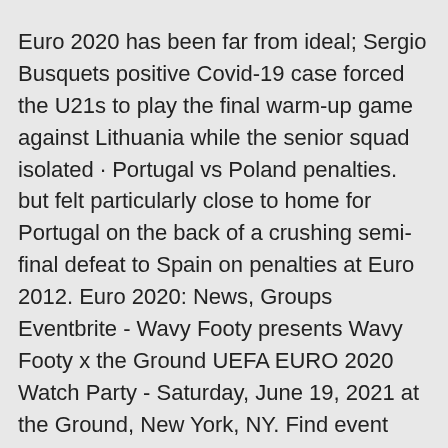Euro 2020 has been far from ideal; Sergio Busquets positive Covid-19 case forced the U21s to play the final warm-up game against Lithuania while the senior squad isolated · Portugal vs Poland penalties. but felt particularly close to home for Portugal on the back of a crushing semi-final defeat to Spain on penalties at Euro 2012. Euro 2020: News, Groups Eventbrite - Wavy Footy presents Wavy Footy x the Ground UEFA EURO 2020 Watch Party - Saturday, June 19, 2021 at the Ground, New York, NY. Find event and ticket information. · Euro 2020 Open Watch Thread: Day 3 The weekend is coming to an end, but the Euros are still very much in the early stages of competition. Prepare the nostalgia: Gigi Buffon reportedly heading back to Parma Dad wants what Dad gets, and that's the chance to play for the club he broke onto the scene at once again.